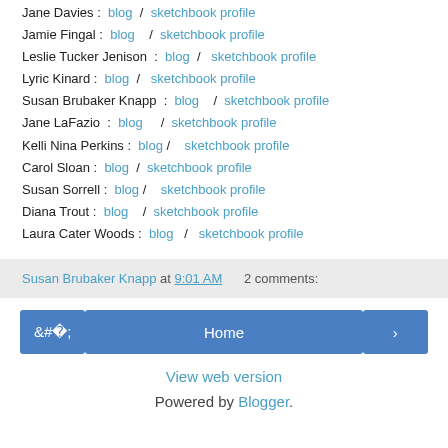Jane Davies :  blog  /  sketchbook profile
Jamie Fingal :  blog  /  sketchbook profile
Leslie Tucker Jenison  :  blog  /  sketchbook profile
Lyric Kinard :  blog  /  sketchbook profile
Susan Brubaker Knapp  :  blog  /  sketchbook profile
Jane LaFazio :  blog  /  sketchbook profile
Kelli Nina Perkins :  blog  /  sketchbook profile
Carol Sloan :  blog  /  sketchbook profile
Susan Sorrell :  blog  /  sketchbook profile
Diana Trout :  blog  /  sketchbook profile
Laura Cater Woods :  blog  /  sketchbook profile
Susan Brubaker Knapp at 9:01 AM    2 comments:
Home
View web version
Powered by Blogger.